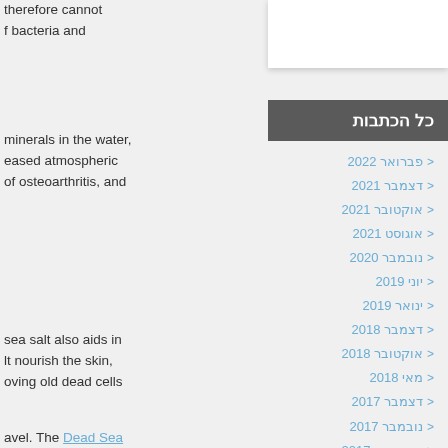therefore cannot
f bacteria and
minerals in the water,
eased atmospheric
of osteoarthritis, and
sea salt also aids in
lt nourish the skin,
oving old dead cells
avel. The Dead Sea
est quality
t with oils of
כל הכתבות
פברואר 2022
דצמבר 2021
אוקטובר 2021
אוגוסט 2021
נובמבר 2020
יוני 2019
ינואר 2019
דצמבר 2018
אוקטובר 2018
מאי 2018
דצמבר 2017
נובמבר 2017
אוקטובר 2017
ספטמבר 2017
אוגוסט 2017
יולי 2017
יוני 2017